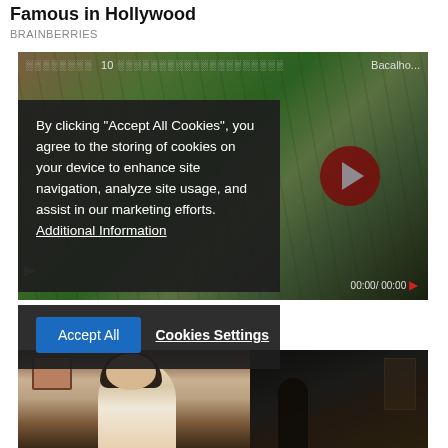Famous in Hollywood
BRAINBERRIES
[Figure (screenshot): Video player showing a rocky/mossy landscape scene with text overlay in foreign script reading '10 ... Bacalho...' and timestamp 00:00/ 00:00 at bottom right]
By clicking "Accept All Cookies", you agree to the storing of cookies on your device to enhance site navigation, analyze site usage, and assist in our marketing efforts. Additional Information
Accept All   Cookies Settings
[Figure (screenshot): Two images side by side: left shows a young woman with dark bob hair in white jacket looking serious in an indoor setting; right shows a dark corridor/doorway scene]